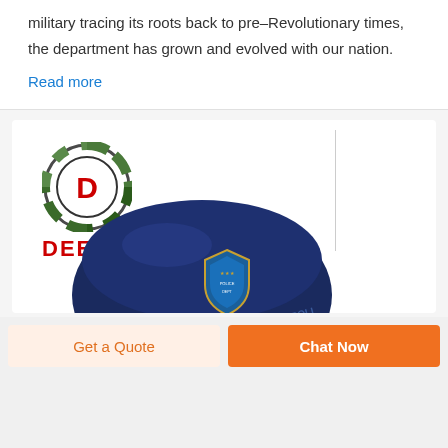military tracing its roots back to pre-Revolutionary times, the department has grown and evolved with our nation.
Read more
[Figure (logo): DEEKON logo with camouflage circular emblem featuring letter D in red, and DEEKON text in red below]
[Figure (photo): Navy blue police riot helmet with POLICE label on the visor area and a police department badge shield on the side]
Get a Quote
Chat Now